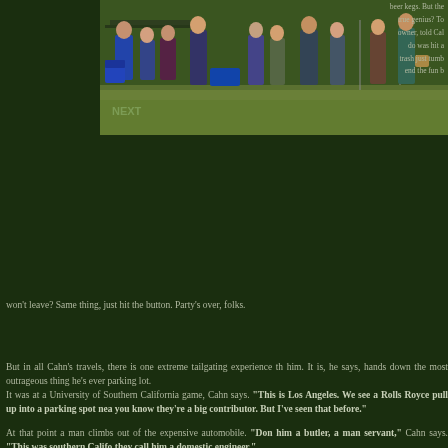[Figure (photo): Outdoor tailgating scene at a sports event. People standing and sitting under tents or canopies on a grassy field. Folding chairs, coolers, and equipment visible in the background.]
beer kegs. But the true genius? To owner, told Cal do was hit a trash just tumb end the fun b won't leave? Same thing, just hit the button. Party's over, folks.
But in all Cahn's travels, there is one extreme tailgating experience th him. It is, he says, hands down the most outrageous thing he's ever parking lot.
It was at a University of Southern California game, Cahn says. "This is Los Angeles. We see a Rolls Royce pull up into a parking spot nea you know they're a big contributor. But I've seen that before."
At that point a man climbs out of the expensive automobile. "Don him a butler, a man servant," Cahn says. "This was southern Califo they call him a domestic engineer."
The butler proceeds to set up and arrange an elegant table com